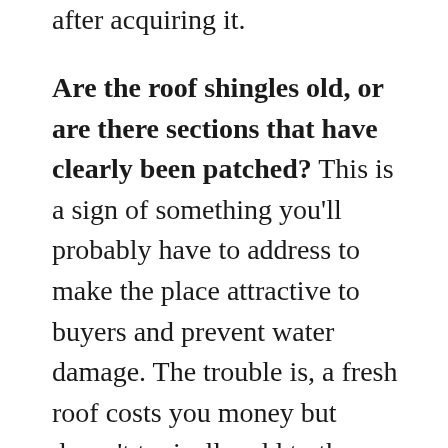after acquiring it.
Are the roof shingles old, or are there sections that have clearly been patched? This is a sign of something you'll probably have to address to make the place attractive to buyers and prevent water damage. The trouble is, a fresh roof costs you money but doesn't typically add to the value of the home, so that will end up being a straight expense you won't